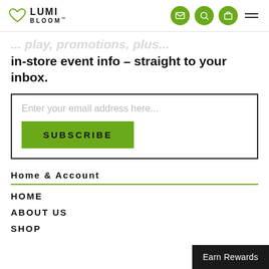Lumi Bloom header with logo and navigation icons
in-store event info – straight to your inbox.
Enter your email address here... SUBSCRIBE
Home & Account
HOME
ABOUT US
SHOP
Earn Rewards